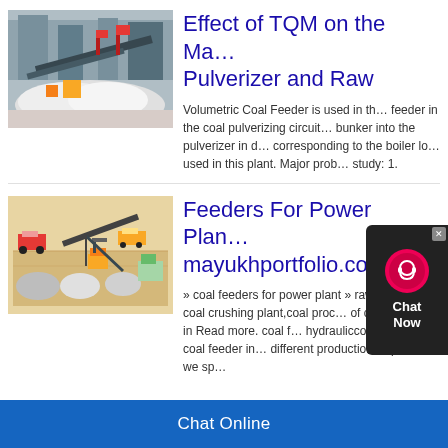[Figure (photo): Coal conveyor/processing facility with machinery and white material (coal/limestone) at a plant site]
Effect of TQM on the Ma… Pulverizer and Raw
Volumetric Coal Feeder is used in th… feeder in the coal pulverizing circuit… bunker into the pulverizer in d… corresponding to the boiler lo… used in this plant. Major prob… study: 1.
[Figure (illustration): 3D isometric diagram of a coal crushing/mining plant layout with trucks, excavators, conveyors and stockpiles]
Feeders For Power Plan… mayukhportfolio.co.in
» coal feeders for power plant » raw… plant » coal crushing plant,coal proc… of coal feeders in Read more. coal f… hydraulicconecrusher. coal feeder in… different production requests, we sp…
Chat Online